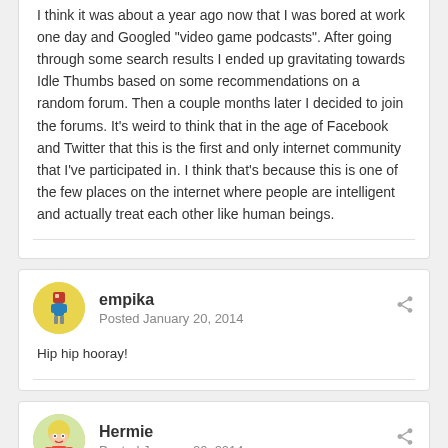I think it was about a year ago now that I was bored at work one day and Googled "video game podcasts". After going through some search results I ended up gravitating towards Idle Thumbs based on some recommendations on a random forum. Then a couple months later I decided to join the forums. It's weird to think that in the age of Facebook and Twitter that this is the first and only internet community that I've participated in. I think that's because this is one of the few places on the internet where people are intelligent and actually treat each other like human beings.
empika
Posted January 20, 2014
Hip hip hooray!
Hermie
Posted January 20, 2014